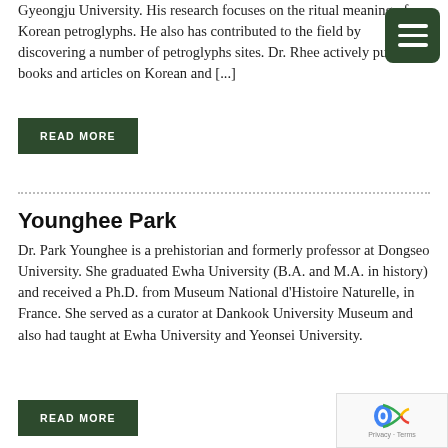Gyeongju University. His research focuses on the ritual meaning of Korean petroglyphs. He also has contributed to the field by discovering a number of petroglyphs sites. Dr. Rhee actively publishes books and articles on Korean and [...]
READ MORE
Younghee Park
Dr. Park Younghee is a prehistorian and formerly professor at Dongseo University. She graduated Ewha University (B.A. and M.A. in history) and received a Ph.D. from Museum National d'Histoire Naturelle, in France. She served as a curator at Dankook University Museum and also had taught at Ewha University and Yeonsei University.
READ MORE
[Figure (other): reCAPTCHA Privacy - Terms widget in bottom right corner]